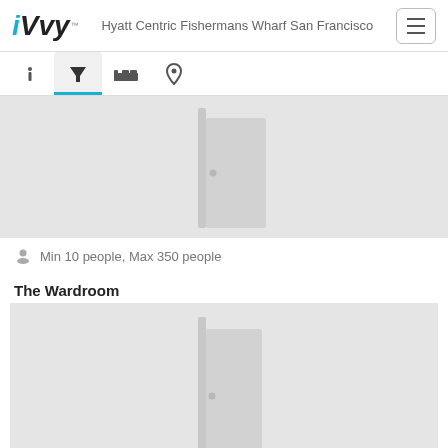iVvy — Hyatt Centric Fishermans Wharf San Francisco
[Figure (screenshot): Navigation tabs: info, filter (active), bed, location pin]
[Figure (illustration): Room image placeholder showing a door illustration on gray background]
Min 10 people, Max 350 people
The Wardroom
[Figure (illustration): Second room image placeholder showing a door illustration on gray background]